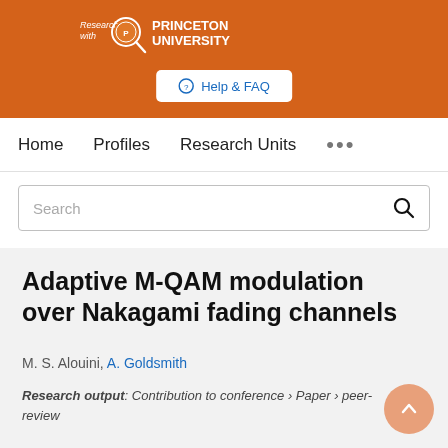[Figure (logo): Princeton University 'Research with Princeton University' logo on orange background with magnifying glass icon and Princeton seal]
Help & FAQ
Home   Profiles   Research Units   ...
Search
Adaptive M-QAM modulation over Nakagami fading channels
M. S. Alouini, A. Goldsmith
Research output: Contribution to conference › Paper › peer-review